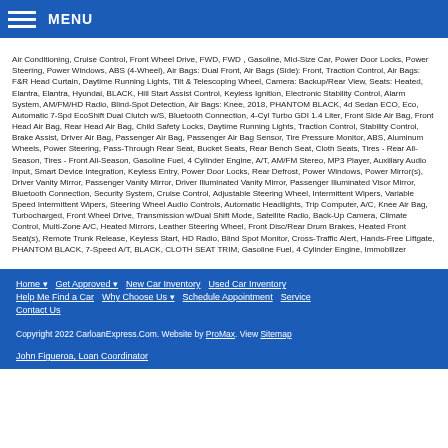MENU
Air Conditioning, Cruise Control, Front Wheel Drive, FWD, FWD , Gasoline, Mid-Size Car, Power Door Locks, Power Steering, Power Windows, ABS (4-Wheel), Air Bags: Dual Front, Air Bags (Side): Front, Traction Control, Air Bags: F&R Head Curtain, Daytime Running Lights, Tilt & Telescoping Wheel, Camera: Backup/Rear View, Seats: Heated, Elantra, Elantra, Hyundai, BLACK, Hill Start Assist Control, Keyless Ignition, Electronic Stability Control, Alarm System, AM/FM/HD Radio, Blind-Spot Detection, Air Bags: Knee, 2018, PHANTOM BLACK, 4d Sedan ECO, Eco, Automatic 7-Spd EcoShift Dual Clutch w/S, Bluetooth Connection, 4-Cyl Turbo GDI 1.4 Liter, Front Side Air Bag, Front Head Air Bag, Rear Head Air Bag, Child Safety Locks, Daytime Running Lights, Traction Control, Stability Control, Brake Assist, Driver Air Bag, Passenger Air Bag, Passenger Air Bag Sensor, Tire Pressure Monitor, ABS, Aluminum Wheels, Power Steering, Pass-Through Rear Seat, Bucket Seats, Rear Bench Seat, Cloth Seats, Tires - Rear All-Season, Tires - Front All-Season, Gasoline Fuel, 4 Cylinder Engine, A/T, AM/FM Stereo, MP3 Player, Auxiliary Audio Input, Smart Device Integration, Keyless Entry, Power Door Locks, Rear Defrost, Power Windows, Power Mirror(s), Driver Vanity Mirror, Passenger Vanity Mirror, Driver Illuminated Vanity Mirror, Passenger Illuminated Visor Mirror, Bluetooth Connection, Security System, Cruise Control, Adjustable Steering Wheel, Intermittent Wipers, Variable Speed Intermittent Wipers, Steering Wheel Audio Controls, Automatic Headlights, Trip Computer, A/C, Knee Air Bag, Turbocharged, Front Wheel Drive, Transmission w/Dual Shift Mode, Satellite Radio, Back-Up Camera, Climate Control, Multi-Zone A/C, Heated Mirrors, Leather Steering Wheel, Front Disc/Rear Drum Brakes, Heated Front Seat(s), Remote Trunk Release, Keyless Start, HD Radio, Blind Spot Monitor, Cross-Traffic Alert, Hands-Free Liftgate, PHANTOM BLACK, 7-Speed A/T, BLACK, CLOTH SEAT TRIM, Gasoline Fuel, 4 Cylinder Engine, Immobilizer
Home | Get Approved | New Car Inventory | Used Car Inventory | Help Me Find a Car | Why Choose Us | Schedule Appointment | Service | Contact Us
Copyright 2022 CarloanExpress.Com. Website by ProMax. View Sitemap
John Figueroa, Loan Coordinator